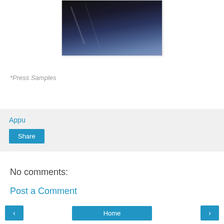[Figure (photo): A dark photo showing what appears to be a black object against a blurred blue/dark background, partially cropped at the top of the page.]
*Press Samples
Appu
Share
No comments:
Post a Comment
< Home >